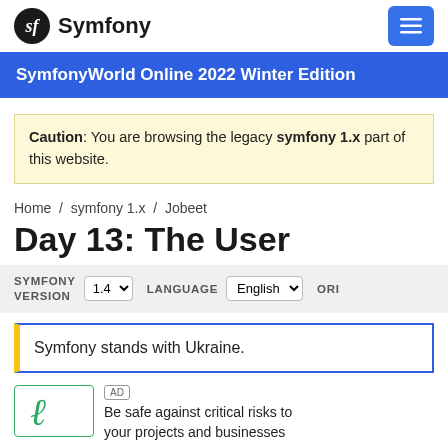Symfony
SymfonyWorld Online 2022 Winter Edition
Caution: You are browsing the legacy symfony 1.x part of this website.
Home / symfony 1.x / Jobeet
Day 13: The User
SYMFONY VERSION 1.4  LANGUAGE English  OR
Symfony stands with Ukraine.
AD Be safe against critical risks to your projects and businesses